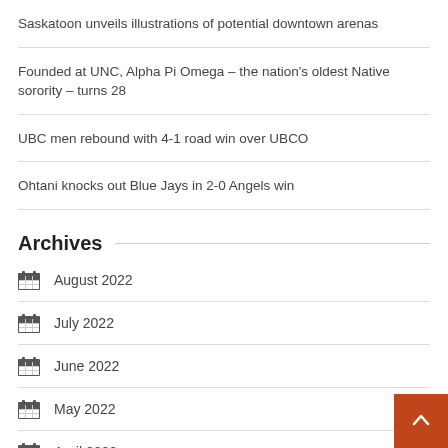Saskatoon unveils illustrations of potential downtown arenas
Founded at UNC, Alpha Pi Omega – the nation's oldest Native sorority – turns 28
UBC men rebound with 4-1 road win over UBCO
Ohtani knocks out Blue Jays in 2-0 Angels win
Archives
August 2022
July 2022
June 2022
May 2022
April 2022